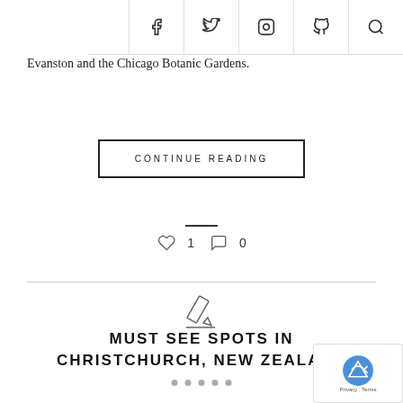f  y  [instagram]  [pinterest]  [search]
Evanston and the Chicago Botanic Gardens.
CONTINUE READING
[Figure (infographic): Heart icon with count 1 and speech bubble icon with count 0]
[Figure (illustration): Pencil / edit icon]
MUST SEE SPOTS IN CHRISTCHURCH, NEW ZEALAND
[Figure (infographic): Five pagination dots]